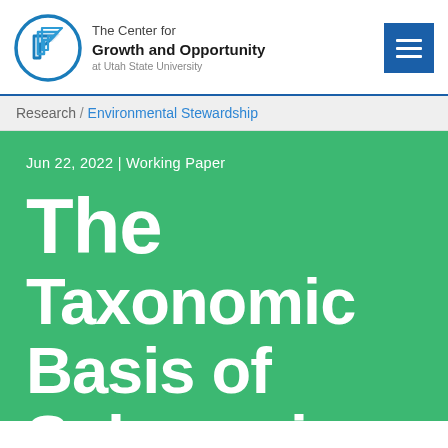[Figure (logo): The Center for Growth and Opportunity at Utah State University logo with circular icon and text]
Research / Environmental Stewardship
Jun 22, 2022 | Working Paper
The Taxonomic Basis of Subspecies